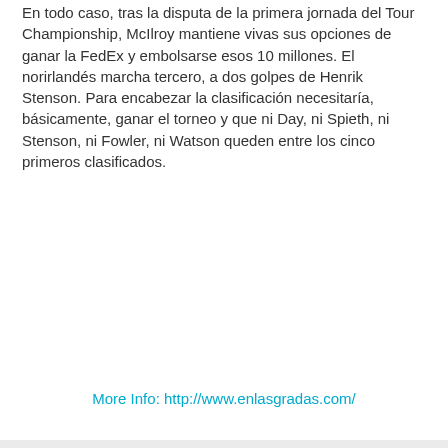En todo caso, tras la disputa de la primera jornada del Tour Championship, McIlroy mantiene vivas sus opciones de ganar la FedEx y embolsarse esos 10 millones. El norirlandés marcha tercero, a dos golpes de Henrik Stenson. Para encabezar la clasificación necesitaría, básicamente, ganar el torneo y que ni Day, ni Spieth, ni Stenson, ni Fowler, ni Watson queden entre los cinco primeros clasificados.
More Info: http://www.enlasgradas.com/
1 comentario:
Tiger Woods has second back surgery, done for 2015
[Figure (other): Empty white image placeholder with border]